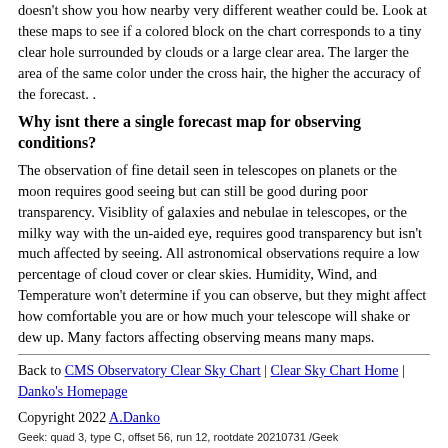doesn't show you how nearby very different weather could be. Look at these maps to see if a colored block on the chart corresponds to a tiny clear hole surrounded by clouds or a large clear area. The larger the area of the same color under the cross hair, the higher the accuracy of the forecast. .
Why isnt there a single forecast map for observing conditions?
The observation of fine detail seen in telescopes on planets or the moon requires good seeing but can still be good during poor transparency. Visiblity of galaxies and nebulae in telescopes, or the milky way with the un-aided eye, requires good transparency but isn't much affected by seeing. All astronomical observations require a low percentage of cloud cover or clear skies. Humidity, Wind, and Temperature won't determine if you can observe, but they might affect how comfortable you are or how much your telescope will shake or dew up. Many factors affecting observing means many maps.
Back to CMS Observatory Clear Sky Chart | Clear Sky Chart Home | Danko's Homepage
Copyright 2022 A.Danko
Geek: quad 3, type C, offset 56, run 12, rootdate 20210731 /Geek